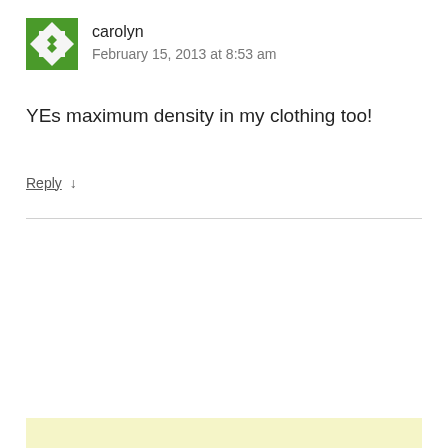[Figure (illustration): Green pixel/mosaic pattern avatar image for user carolyn]
carolyn
February 15, 2013 at 8:53 am
YEs maximum density in my clothing too!
Reply ↓